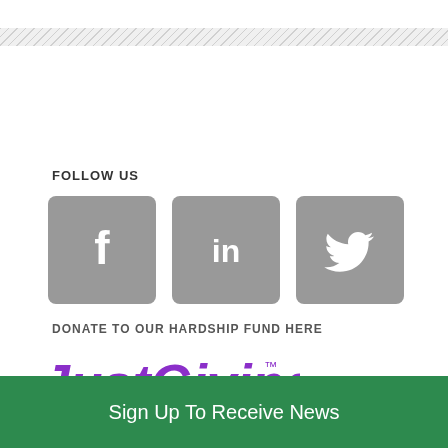[Figure (illustration): Diagonal stripe decorative divider at the top of the page]
FOLLOW US
[Figure (illustration): Three social media icons: Facebook (f), LinkedIn (in), Twitter bird — all on grey rounded square backgrounds]
DONATE TO OUR HARDSHIP FUND HERE
[Figure (logo): JustGiving logo in purple text with TM mark]
Sign Up To Receive News